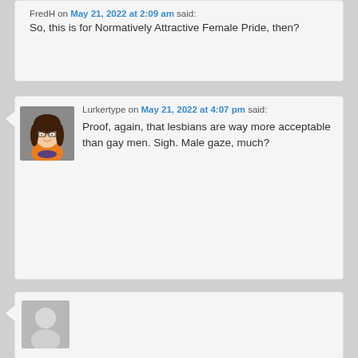FredH on May 21, 2022 at 2:09 am said: So, this is for Normatively Attractive Female Pride, then?
[Figure (illustration): Cartoon avatar of Lurkertype - South Park style female character with brown hair and orange shirt on gray background]
Lurkertype on May 21, 2022 at 4:07 pm said: Proof, again, that lesbians are way more acceptable than gay men. Sigh. Male gaze, much?
[Figure (illustration): Gray placeholder avatar (partial, cut off at bottom of page)]